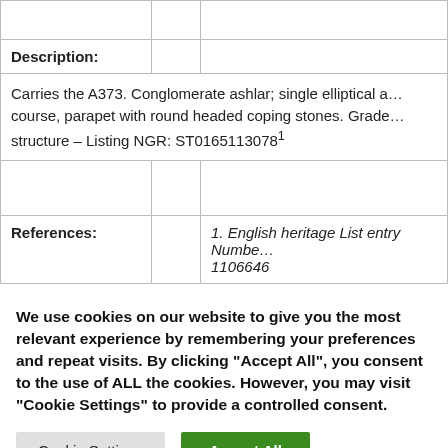|  |  |  |
| Description: |  |  |
| Carries the A373. Conglomerate ashlar; single elliptical a… course, parapet with round headed coping stones. Grade… structure – Listing NGR: ST0165113078¹ |  |  |
|  |  |  |
| References: |  | 1. English heritage List entry Number 1106646 |
We use cookies on our website to give you the most relevant experience by remembering your preferences and repeat visits. By clicking "Accept All", you consent to the use of ALL the cookies. However, you may visit "Cookie Settings" to provide a controlled consent.